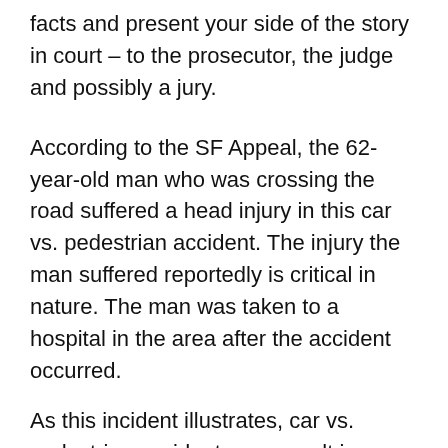facts and present your side of the story in court – to the prosecutor, the judge and possibly a jury.
According to the SF Appeal, the 62-year-old man who was crossing the road suffered a head injury in this car vs. pedestrian accident. The injury the man suffered reportedly is critical in nature. The man was taken to a hospital in the area after the accident occurred.
As this incident illustrates, car vs. pedestrian accidents can result in pedestrians sustaining serious injuries, such as head injuries. Injured pedestrians or their family should not hesitate to contact a Auto accident lawyer.